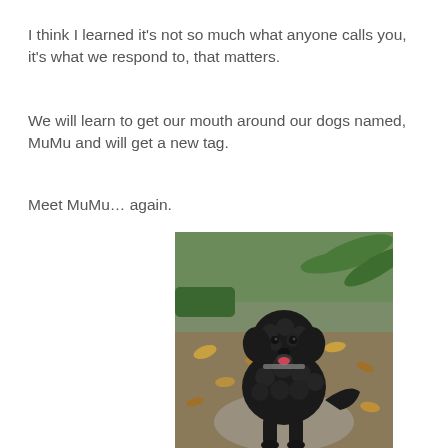I think I learned it’s not so much what anyone calls you, it’s what we respond to, that matters.
We will learn to get our mouth around our dogs named, MuMu and will get a new tag.
Meet MuMu… again.
[Figure (photo): A black curly-haired dog (MuMu) sitting on a path outdoors, surrounded by ferns and fallen autumn leaves, with mouth open in a happy expression.]